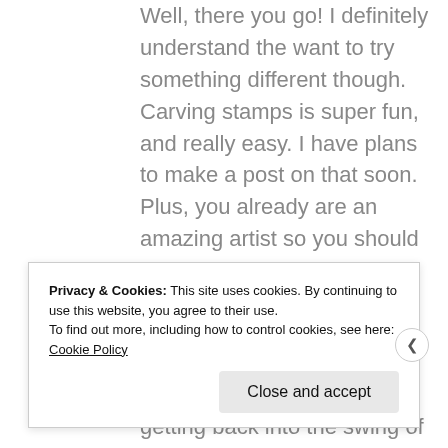Well, there you go! I definitely understand the want to try something different though. Carving stamps is super fun, and really easy. I have plans to make a post on that soon. Plus, you already are an amazing artist so you should have an easy time carving!

I'm sorry to hear about your depression, although I'm happy to hear that you're getting back into the swing of your creativity.
Privacy & Cookies: This site uses cookies. By continuing to use this website, you agree to their use. To find out more, including how to control cookies, see here: Cookie Policy